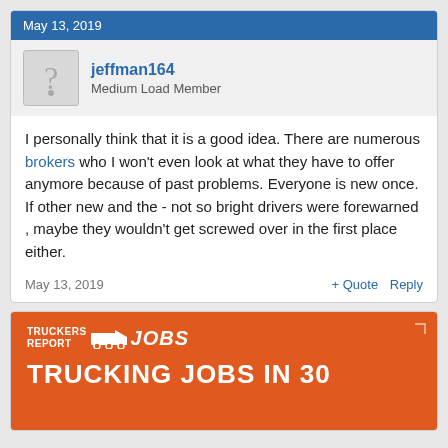May 13, 2019
jeffman164
Medium Load Member
I personally think that it is a good idea. There are numerous brokers who I won't even look at what they have to offer anymore because of past problems. Everyone is new once. If other new and the - not so bright drivers were forewarned , maybe they wouldn't get screwed over in the first place either.
May 13, 2019   + Quote   Reply
[Figure (infographic): Truckers Report Jobs advertisement banner with logo and headline text 'TRUCKING JOBS IN 30']